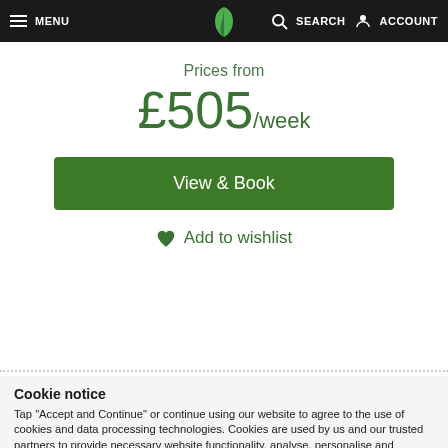MENU | SEARCH ACCOUNT
Prices from
£505/week
View & Book
Add to wishlist
Cookie notice
Tap "Accept and Continue" or continue using our website to agree to the use of cookies and data processing technologies. Cookies are used by us and our trusted partners to provide necessary website functionality, analyse, personalise and enhance your experience on this website as well as to deliver tailored holiday-related ads on other websites.
Accept and Continue